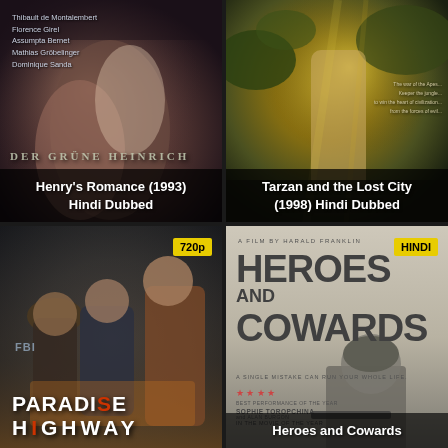[Figure (photo): Movie poster for Henry's Romance (1993) Hindi Dubbed - romantic drama showing a man and woman embracing, with cast names listed at top]
[Figure (photo): Movie poster for Tarzan and the Lost City (1998) Hindi Dubbed - action movie showing Tarzan in jungle setting with golden/green tones]
[Figure (photo): Movie poster for Paradise Highway - thriller showing three people including an older man in hat, a woman, and a man, with 720p badge, FBI text visible]
[Figure (photo): Movie poster for Heroes and Cowards - grey/beige movie poster with large title text, film by Harald Franklin, HINDI badge, stars rating, Sophie Toropchina and Alan Burgon credits, soldier figure at bottom]